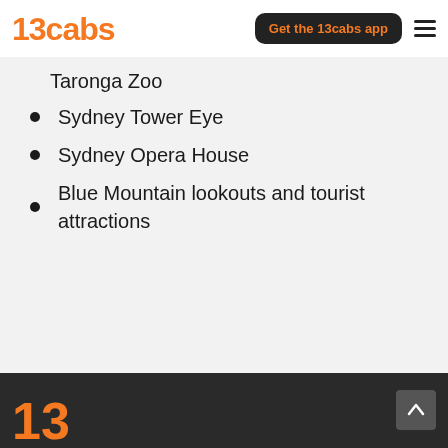13cabs | Get the 13cabs app
Taronga Zoo (partial, cut off)
Sydney Tower Eye
Sydney Opera House
Blue Mountain lookouts and tourist attractions
13cabs footer logo (partial)